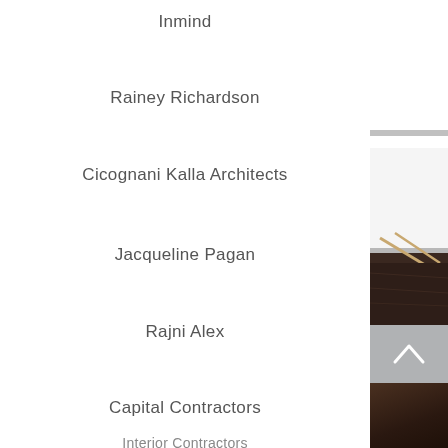Inmind
Rainey Richardson
Cicognani Kalla Architects
Jacqueline Pagan
Rajni Alex
Capital Contractors
[Figure (photo): Partial view of a closet/interior with dark brown leather and wooden hanger elements on the right side of the page, with a gray back-to-top navigation button]
Interior Contractors (partial, cut off)